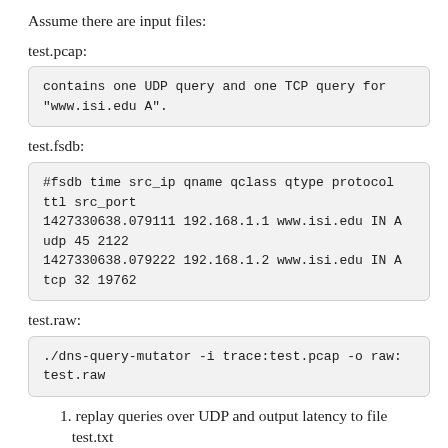Assume there are input files:
test.pcap:
contains one UDP query and one TCP query for "www.isi.edu A".
test.fsdb:
#fsdb time src_ip qname qclass qtype protocol ttl src_port
1427330638.079111 192.168.1.1 www.isi.edu IN A udp 45 2122
1427330638.079222 192.168.1.2 www.isi.edu IN A tcp 32 19762
test.raw:
./dns-query-mutator -i trace:test.pcap -o raw:test.raw
1. replay queries over UDP and output latency to file
   test.txt